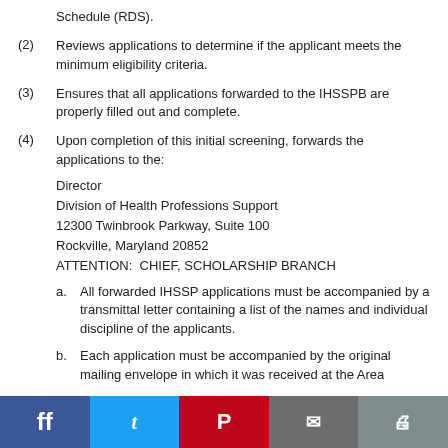Schedule (RDS).
(2)  Reviews applications to determine if the applicant meets the minimum eligibility criteria.
(3)  Ensures that all applications forwarded to the IHSSPB are properly filled out and complete.
(4)  Upon completion of this initial screening, forwards the applications to the:
Director
Division of Health Professions Support
12300 Twinbrook Parkway, Suite 100
Rockville, Maryland 20852
ATTENTION:  CHIEF, SCHOLARSHIP BRANCH
a.  All forwarded IHSSP applications must be accompanied by a transmittal letter containing a list of the names and individual discipline of the applicants.
b.  Each application must be accompanied by the original mailing envelope in which it was received at the Area